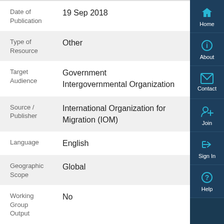| Field | Value |
| --- | --- |
| Date of Publication | 19 Sep 2018 |
| Type of Resource | Other |
| Target Audience | Government
Intergovernmental Organization |
| Source / Publisher | International Organization for Migration (IOM) |
| Language | English |
| Geographic Scope | Global |
| Working Group Output | No |
[Figure (infographic): Vertical sidebar navigation with icons: Home, About, Contact, Join, Sign In, Help on dark navy background]